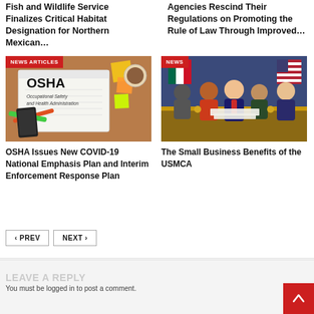Fish and Wildlife Service Finalizes Critical Habitat Designation for Northern Mexican…
Agencies Rescind Their Regulations on Promoting the Rule of Law Through Improved…
[Figure (photo): OSHA – Occupational Safety and Health Administration notebook with office supplies]
[Figure (photo): World leaders (Trump, Trudeau, and others) signing USMCA agreement at a table with flags]
OSHA Issues New COVID-19 National Emphasis Plan and Interim Enforcement Response Plan
The Small Business Benefits of the USMCA
PREV
NEXT
LEAVE A REPLY
You must be logged in to post a comment.